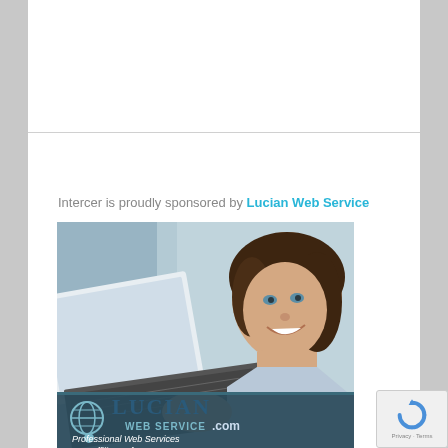Intercer is proudly sponsored by Lucian Web Service
[Figure (photo): Advertisement image showing a smiling young woman at a laptop, with the Lucian Web Service logo overlay at the bottom showing 'LUCIAN WEB SERVICE.com', 'Professional Web Services', and 'Affiliate Info' text on a teal/dark background.]